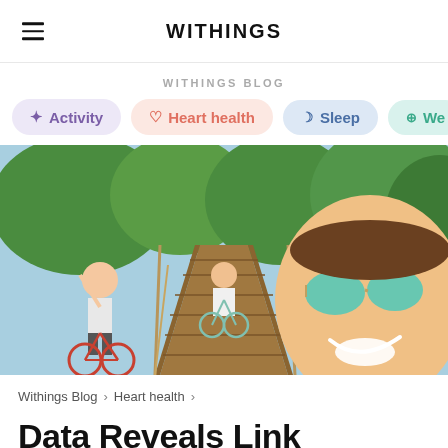WITHINGS
WITHINGS BLOG
Activity
Heart health
Sleep
We...
[Figure (photo): Three women riding bicycles on a wooden boardwalk surrounded by trees on a sunny day; the closest person is taking a selfie with mirrored sunglasses and a big smile.]
Withings Blog > Heart health >
Data Reveals Link